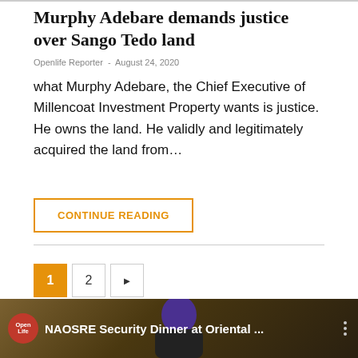Murphy Adebare demands justice over Sango Tedo land
Openlife Reporter  -  August 24, 2020
what Murphy Adebare, the Chief Executive of Millencoat Investment Property wants is justice. He owns the land. He validly and legitimately acquired the land from…
CONTINUE READING
[Figure (screenshot): Pagination controls showing page 1 (active, orange), page 2, and next arrow button]
[Figure (screenshot): Video thumbnail showing a person in a purple/blue traditional cap and face mask, with OpenLife logo circle and title 'NAOSRE Security Dinner at Oriental ...' with options menu dots]